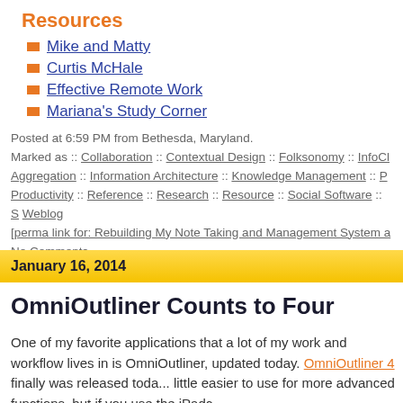Resources
Mike and Matty
Curtis McHale
Effective Remote Work
Mariana's Study Corner
Posted at 6:59 PM from Bethesda, Maryland.
Marked as :: Collaboration :: Contextual Design :: Folksonomy :: InfoCh... Aggregation :: Information Architecture :: Knowledge Management :: P... Productivity :: Reference :: Research :: Resource :: Social Software :: S... Weblog
[perma link for: Rebuilding My Note Taking and Management System a...
No Comments
January 16, 2014
OmniOutliner Counts to Four
One of my favorite applications that a lot of my work and workflow lives in is OmniOutliner, updated today. OmniOutliner 4 finally was released toda... little easier to use for more advanced functions, but if you use the iPadc...